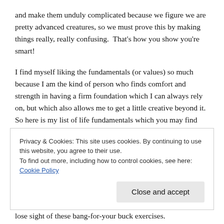and make them unduly complicated because we figure we are pretty advanced creatures, so we must prove this by making things really, really confusing.  That's how you show you're smart!
I find myself liking the fundamentals (or values) so much because I am the kind of person who finds comfort and strength in having a firm foundation which I can always rely on, but which also allows me to get a little creative beyond it.  So here is my list of life fundamentals which you may find handy too:
Privacy & Cookies: This site uses cookies. By continuing to use this website, you agree to their use.
To find out more, including how to control cookies, see here: Cookie Policy
lose sight of these bang-for-your buck exercises.